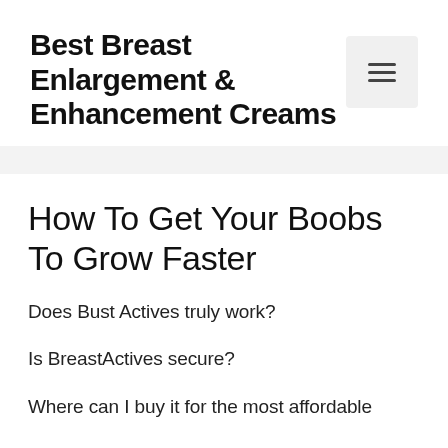Best Breast Enlargement & Enhancement Creams
How To Get Your Boobs To Grow Faster
Does Bust Actives truly work?
Is BreastActives secure?
Where can I buy it for the most affordable